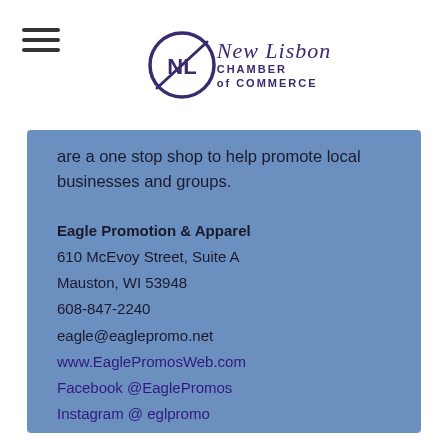New Lisbon Chamber of Commerce
are a one stop shop to help promote local businesses and groups.
Eagle Promotion & Apparel
610 McEvoy Street, Suite A
Mauston, WI 53948
608-847-2240
eagle@eaglepromo.net
www.EaglePromosWeb.com
Facebook @EaglePromos
Instagram @ eglpromo